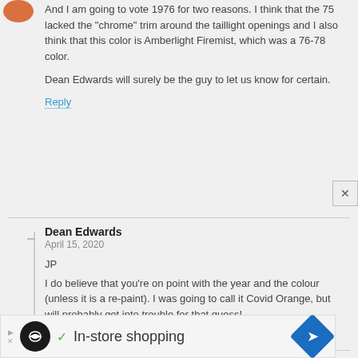And I am going to vote 1976 for two reasons. I think that the 75 lacked the "chrome" trim around the taillight openings and I also think that this color is Amberlight Firemist, which was a 76-78 color.
Dean Edwards will surely be the guy to let us know for certain.
Reply
Dean Edwards
April 15, 2020
JP
I do believe that you're on point with the year and the colour (unless it is a re-paint). I was going to call it Covid Orange, but will probably get into trouble for that guess!
Reply
LRF
April 17, 2020
'75's had V and crest on the hood, '76 was hood ornament, this looks like '76 grille and wheel covers, has had chrome added above the grille, I had
[Figure (other): Advertisement bar at bottom: black circle logo with infinity symbol, checkmark, 'In-store shopping' text, blue diamond navigation icon]